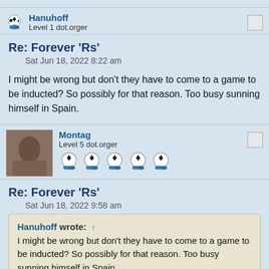Hanuhoff
Level 1 dot.orger
Re: Forever 'Rs'
Sat Jun 18, 2022 8:22 am
I might be wrong but don't they have to come to a game to be inducted? So possibly for that reason. Too busy sunning himself in Spain.
Montag
Level 5 dot.orger
Re: Forever 'Rs'
Sat Jun 18, 2022 9:58 am
Hanuhoff wrote: ↑
I might be wrong but don't they have to come to a game to be inducted? So possibly for that reason. Too busy sunning himself in Spain.
I wondered if that might be the case. Might be that he's been asked but